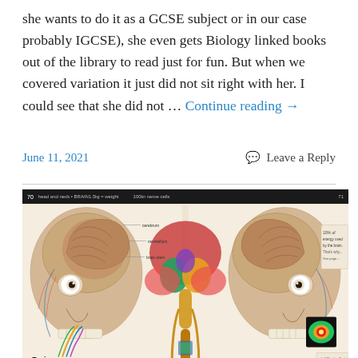she wants to do it as a GCSE subject or in our case probably IGCSE), she even gets Biology linked books out of the library to read just for fun. But when we covered variation it just did not sit right with her. I could see that she did not … Continue reading →
June 11, 2021
Leave a Reply
[Figure (photo): Open anatomy book showing detailed cross-section illustrations of a human head and brain from a front view. The book pages show colorful diagrams of brain anatomy including the brain, eyes, skull, nerves and labeled structures. The left page is numbered 70 and the right page 71. A 'Brain' section heading is visible at the bottom left of the image.]